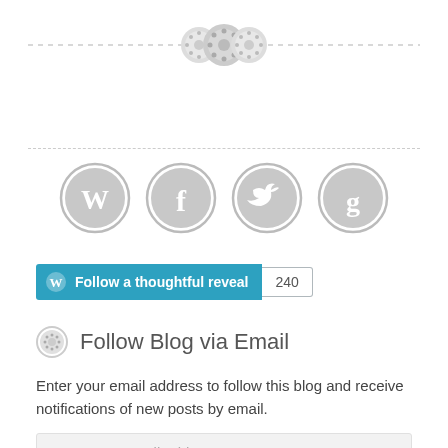[Figure (other): Three gray circular button/gear icons in a row along a dashed horizontal divider line]
[Figure (other): Four gray circular social media icons: WordPress, Facebook, Twitter, Goodreads]
[Figure (other): Blue 'Follow a thoughtful reveal' WordPress follow button with count badge showing 240]
Follow Blog via Email
Enter your email address to follow this blog and receive notifications of new posts by email.
Enter your email address